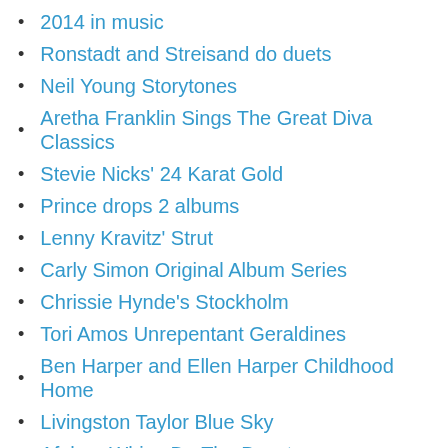2014 in music
Ronstadt and Streisand do duets
Neil Young Storytones
Aretha Franklin Sings The Great Diva Classics
Stevie Nicks' 24 Karat Gold
Prince drops 2 albums
Lenny Kravitz' Strut
Carly Simon Original Album Series
Chrissie Hynde's Stockholm
Tori Amos Unrepentant Geraldines
Ben Harper and Ellen Harper Childhood Home
Livingston Taylor Blue Sky
Afghan Whigs Do The Beast
Cloud Nothings
Pretenders The Isle Of View
Ben Taylor's Listening
Bruce Springsteen High Hopes
Brad Paisley